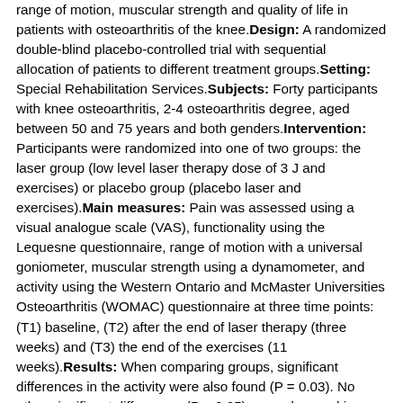range of motion, muscular strength and quality of life in patients with osteoarthritis of the knee.Design: A randomized double-blind placebo-controlled trial with sequential allocation of patients to different treatment groups.Setting: Special Rehabilitation Services.Subjects: Forty participants with knee osteoarthritis, 2-4 osteoarthritis degree, aged between 50 and 75 years and both genders.Intervention: Participants were randomized into one of two groups: the laser group (low level laser therapy dose of 3 J and exercises) or placebo group (placebo laser and exercises).Main measures: Pain was assessed using a visual analogue scale (VAS), functionality using the Lequesne questionnaire, range of motion with a universal goniometer, muscular strength using a dynamometer, and activity using the Western Ontario and McMaster Universities Osteoarthritis (WOMAC) questionnaire at three time points: (T1) baseline, (T2) after the end of laser therapy (three weeks) and (T3) the end of the exercises (11 weeks).Results: When comparing groups, significant differences in the activity were also found (P = 0.03). No other significant differences (P > 0.05) were observed in other variables. In intragroup analysis, participants in the laser group had significant improvement, relative to baseline, on pain (P = 0.001), range of motion (P = 0.01), functionality (P = 0.001) and activity (P < 0.001). No significant improvement was seen in the placebo group.Conclusion: Our findings suggest that low level laser therapy when associated with exercises is effective in yielding pain